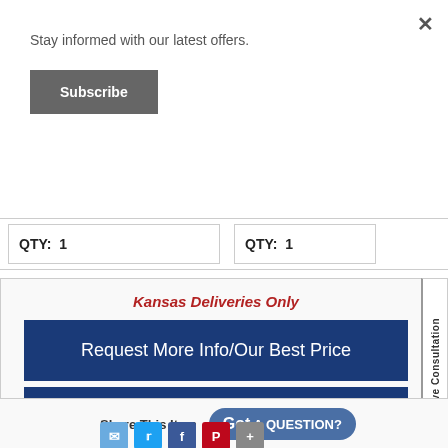Stay informed with our latest offers.
Subscribe
QTY: 1
QTY: 1
Kansas Deliveries Only
Request More Info/Our Best Price
Special Offers
Shop Consultant
Live Consultation
Share This Item
Got A QUESTION?
[Figure (screenshot): Social sharing icons: email, Twitter, Facebook, Pinterest, plus]